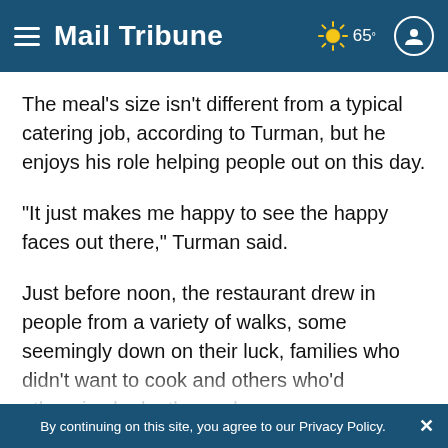Mail Tribune — 65°
The meal's size isn't different from a typical catering job, according to Turman, but he enjoys his role helping people out on this day.
"It just makes me happy to see the happy faces out there," Turman said.
Just before noon, the restaurant drew in people from a variety of walks, some seemingly down on their luck, families who didn't want to cook and others who'd otherwise be by themselves
By continuing on this site, you agree to our Privacy Policy.